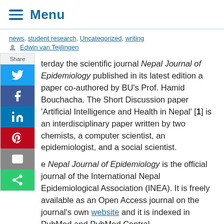Menu
news, student research, Uncategorized, writing
Edwin van Teijlingen
…terday the scientific journal Nepal Journal of Epidemiology published in its latest edition a paper co-authored by BU's Prof. Hamid Bouchacha. The Short Discussion paper 'Artificial Intelligence and Health in Nepal' [1] is an interdisciplinary paper written by two chemists, a computer scientist, an epidemiologist, and a social scientist.

The Nepal Journal of Epidemiology is the official journal of the International Nepal Epidemiological Association (INEA). It is freely available as an Open Access journal on the journal's own website and it is indexed in PubMed and PubMed Central.